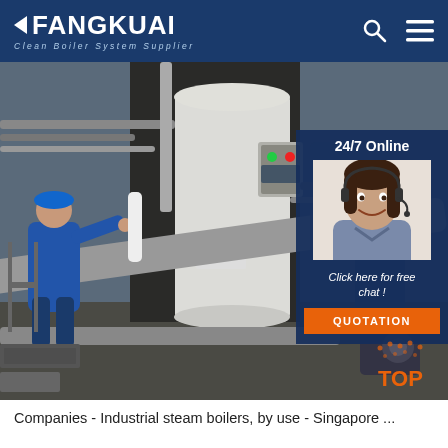FANGKUAI – Clean Boiler System Supplier
[Figure (photo): Industrial boiler installation scene with a worker in blue hard hat and coveralls working on large white cylindrical boiler. Pipes and control panel visible. Overlay panel shows 24/7 Online customer support agent photo, 'Click here for free chat!' text, QUOTATION button, and TOP navigation button.]
Companies - Industrial steam boilers, by use - Singapore ...